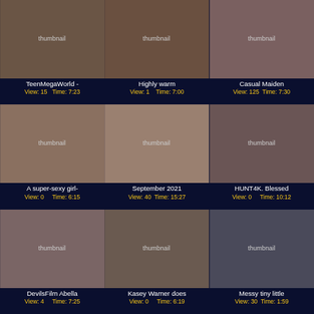[Figure (photo): Video thumbnail 1]
TeenMegaWorld -
View: 15   Time: 7:23
[Figure (photo): Video thumbnail 2]
Highly warm
View: 1   Time: 7:00
[Figure (photo): Video thumbnail 3]
Casual Maiden
View: 125   Time: 7:30
[Figure (photo): Video thumbnail 4]
A super-sexy girl-
View: 0   Time: 6:15
[Figure (photo): Video thumbnail 5]
September 2021
View: 40   Time: 15:27
[Figure (photo): Video thumbnail 6]
HUNT4K. Blessed
View: 0   Time: 10:12
[Figure (photo): Video thumbnail 7]
DevilsFilm Abella
View: 4   Time: 7:25
[Figure (photo): Video thumbnail 8]
Kasey Warner does
View: 0   Time: 6:19
[Figure (photo): Video thumbnail 9]
Messy tiny little
View: 30   Time: 1:59